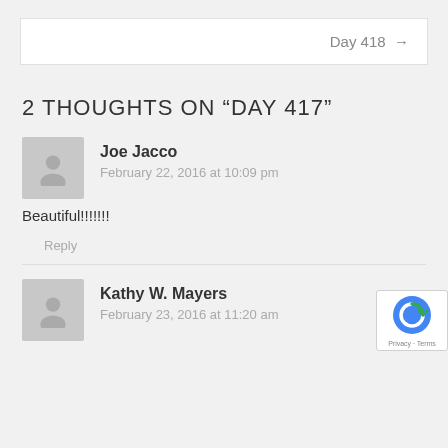Day 418 →
2 THOUGHTS ON "DAY 417"
Joe Jacco
February 22, 2016 at 10:09 pm
Beautiful!!!!!!!
Reply
Kathy W. Mayers
February 23, 2016 at 11:20 am